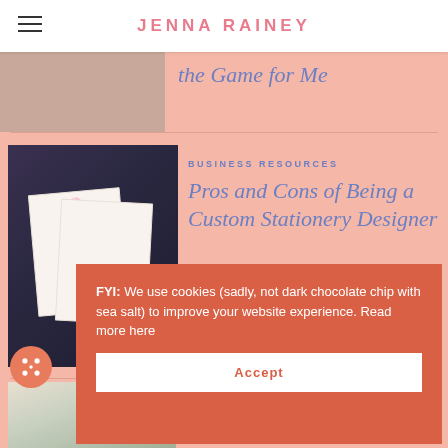JENNA RAINEY
the Game for Me
BUSINESS RESOURCES
Pros and Cons of Being a Custom Stationery Designer
[Figure (photo): Wedding stationery invitation cards with floral design arranged on a dark background with decorative elements]
FYI: We use cookies (sadly, not dark chocolate chip with sea salt) to improve your website experience. Read more here
Accept
[Figure (photo): Person painting or drawing at a table with flowers and plants in the background]
Plastic Palette